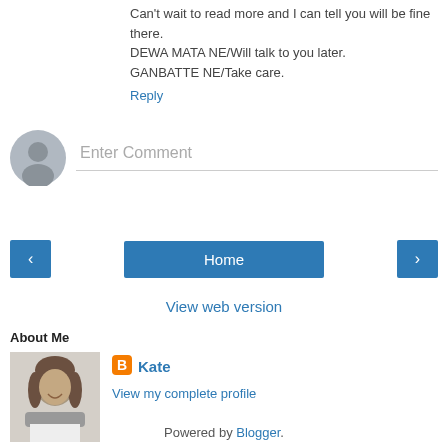Can't wait to read more and I can tell you will be fine there. DEWA MATA NE/Will talk to you later. GANBATTE NE/Take care.
Reply
[Figure (other): Avatar placeholder icon for entering a comment]
Enter Comment
< (previous page navigation button)
Home
> (next page navigation button)
View web version
About Me
[Figure (photo): Black and white photo of a woman smiling, with long brown hair and a scarf]
Kate
View my complete profile
Powered by Blogger.